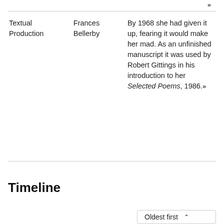|  |  |  |
| --- | --- | --- |
| Textual Production | Frances Bellerby | By 1968 she had given it up, fearing it would make her mad. As an unfinished manuscript it was used by Robert Gittings in his introduction to her Selected Poems, 1986. "" |
Timeline
Oldest first